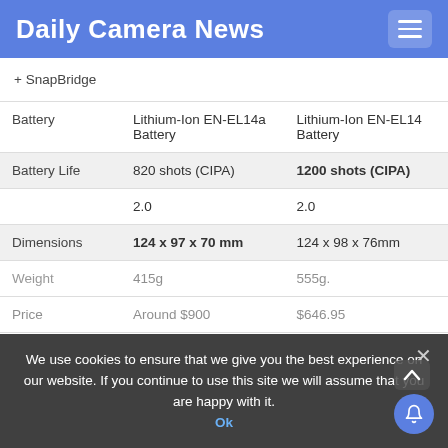Daily Camera News
|  | Col1 | Col2 |
| --- | --- | --- |
| + SnapBridge |  |  |
| Battery | Lithium-Ion EN-EL14a Battery | Lithium-Ion EN-EL14 Battery |
| Battery Life | 820 shots (CIPA) | 1200 shots (CIPA) |
|  | 2.0 | 2.0 |
| Dimensions | 124 x 97 x 70 mm | 124 x 98 x 76mm |
| Weight | 415g | 555g |
| Price | Around $900 | $646.95 |
We use cookies to ensure that we give you the best experience on our website. If you continue to use this site we will assume that you are happy with it.